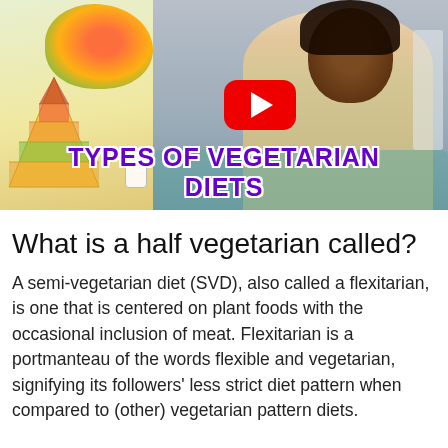[Figure (screenshot): YouTube video thumbnail showing 'Types of Vegetarian Diets' with a food pyramid and fruits on the left, a smiling woman on the right, and a red YouTube play button in the center. Bold purple text reads 'TYPES OF VEGETARIAN DIETS' at the bottom of the thumbnail.]
What is a half vegetarian called?
A semi-vegetarian diet (SVD), also called a flexitarian, is one that is centered on plant foods with the occasional inclusion of meat. Flexitarian is a portmanteau of the words flexible and vegetarian, signifying its followers' less strict diet pattern when compared to (other) vegetarian pattern diets.